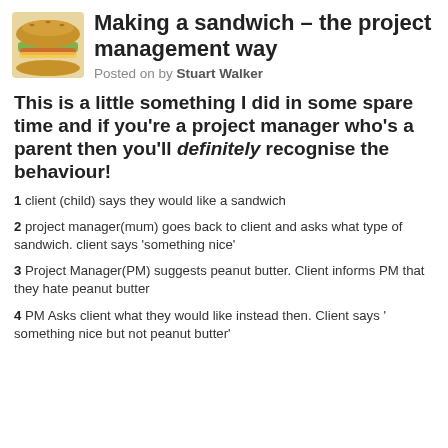[Figure (photo): Photo of a sandwich]
Making a sandwich – the project management way
Posted on by Stuart Walker
This is a little something I did in some spare time and if you're a project manager who's a parent then you'll definitely recognise the behaviour!
1 client (child) says they would like a sandwich
2 project manager(mum) goes back to client and asks what type of sandwich. client says 'something nice'
3 Project Manager(PM) suggests peanut butter. Client informs PM that they hate peanut butter
4 PM Asks client what they would like instead then. Client says ' something nice but not peanut butter'